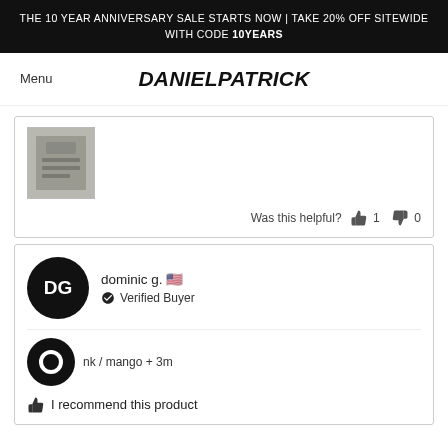THE 10 YEAR ANNIVERSARY SALE STARTS NOW | TAKE 20% OFF SITEWIDE WITH CODE 10YEARS
DANIELPATRICK
Menu
[Figure (photo): Product photo thumbnail showing fabric/clothing detail in grey/silver tones]
Was this helpful? 👍 1 👎 0
dominic g. 🇺🇸
Verified Buyer
nk / mango + 3m
I recommend this product